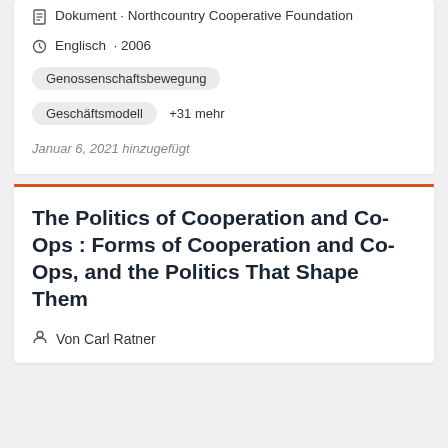Dokument · Northcountry Cooperative Foundation
Englisch · 2006
Genossenschaftsbewegung
Geschäftsmodell   +31 mehr
Januar 6, 2021 hinzugefügt
The Politics of Cooperation and Co-Ops : Forms of Cooperation and Co-Ops, and the Politics That Shape Them
Von Carl Ratner